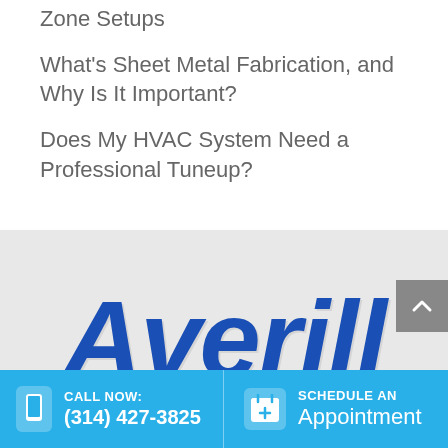Zone Setups
What's Sheet Metal Fabrication, and Why Is It Important?
Does My HVAC System Need a Professional Tuneup?
[Figure (logo): Averill company logo in large bold blue italic script text on a light gray background]
CALL NOW: (314) 427-3825 | SCHEDULE AN Appointment